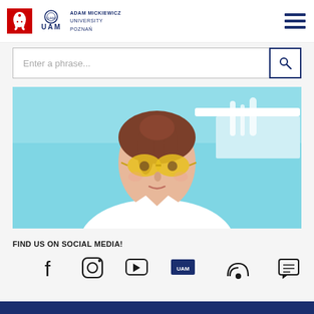[Figure (logo): Adam Mickiewicz University Poznan logo with Polish eagle emblem and UAM text, plus hamburger menu icon]
Enter a phrase...
[Figure (photo): Photo of a young woman with yellow-tinted glasses wearing a white lab coat against a light blue background]
FIND US ON SOCIAL MEDIA!
[Figure (infographic): Social media icons: Facebook, Instagram, YouTube, UAM, RSS feed, and blog icons]